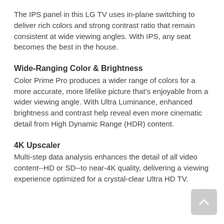The IPS panel in this LG TV uses in-plane switching to deliver rich colors and strong contrast ratio that remain consistent at wide viewing angles. With IPS, any seat becomes the best in the house.
Wide-Ranging Color & Brightness
Color Prime Pro produces a wider range of colors for a more accurate, more lifelike picture that’s enjoyable from a wider viewing angle. With Ultra Luminance, enhanced brightness and contrast help reveal even more cinematic detail from High Dynamic Range (HDR) content.
4K Upscaler
Multi-step data analysis enhances the detail of all video content--HD or SD--to near-4K quality, delivering a viewing experience optimized for a crystal-clear Ultra HD TV.